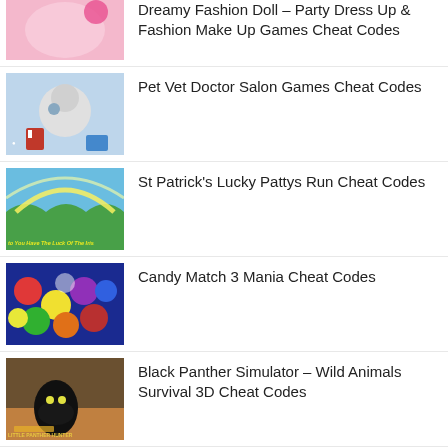Dreamy Fashion Doll – Party Dress Up & Fashion Make Up Games Cheat Codes
Pet Vet Doctor Salon Games Cheat Codes
St Patrick's Lucky Pattys Run Cheat Codes
Candy Match 3 Mania Cheat Codes
Black Panther Simulator – Wild Animals Survival 3D Cheat Codes
Rings Power Cheat Codes